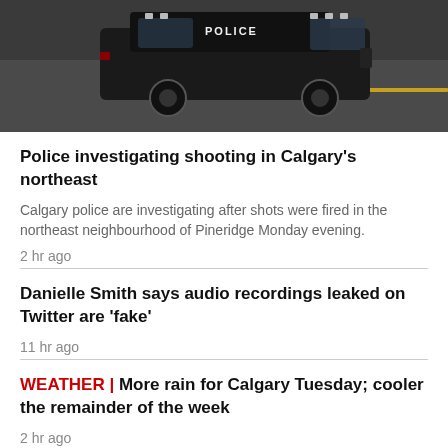[Figure (photo): Police vehicle (black SUV with POLICE text visible) parked on a road with yellow line markings]
Police investigating shooting in Calgary's northeast
Calgary police are investigating after shots were fired in the northeast neighbourhood of Pineridge Monday evening.
2 hr ago
Danielle Smith says audio recordings leaked on Twitter are 'fake'
11 hr ago
WEATHER | More rain for Calgary Tuesday; cooler the remainder of the week
2 hr ago